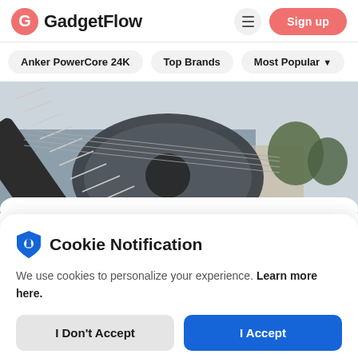[Figure (logo): GadgetFlow logo: pink G icon and bold GadgetFlow text]
Sign up
Anker PowerCore 24K
Top Brands
Most Popular
[Figure (photo): Close-up of an acoustic guitar neck and body leaning outdoors against a wall, with trees and a building in the background]
Cookie Notification
We use cookies to personalize your experience. Learn more here.
I Don't Accept
I Accept